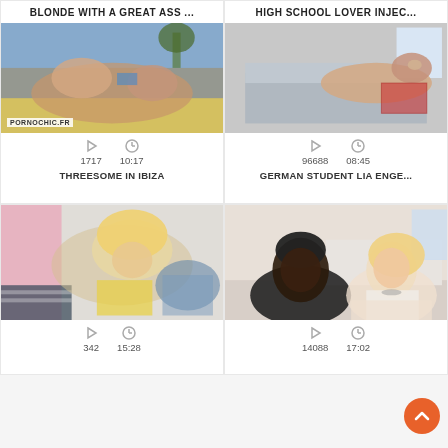BLONDE WITH A GREAT ASS ...
[Figure (photo): Outdoor threesome scene with PORNOCHIC.FR watermark]
1717  10:17
THREESOME IN IBIZA
HIGH SCHOOL LOVER INJEC...
[Figure (photo): Indoor scene on a couch]
96688  08:45
GERMAN STUDENT LIA ENGE...
[Figure (photo): Blonde woman scene]
342  15:28
[Figure (photo): Man and woman on couch]
14088  17:02